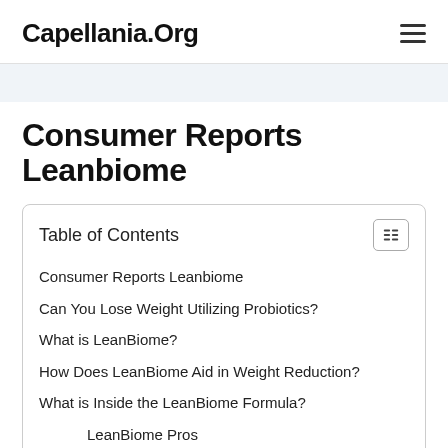Capellania.Org
Consumer Reports Leanbiome
Table of Contents
Consumer Reports Leanbiome
Can You Lose Weight Utilizing Probiotics?
What is LeanBiome?
How Does LeanBiome Aid in Weight Reduction?
What is Inside the LeanBiome Formula?
LeanBiome Pros
LeanBiome Cons
Where to Purchase LeanBiome? Is it Inexpensive?
LeanBiome Refund Plan